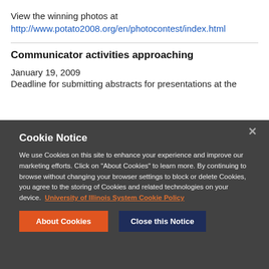View the winning photos at
http://www.potato2008.org/en/photocontest/index.html
Communicator activities approaching
January 19, 2009
Deadline for submitting abstracts for presentations at the
Cookie Notice
We use Cookies on this site to enhance your experience and improve our marketing efforts. Click on "About Cookies" to learn more. By continuing to browse without changing your browser settings to block or delete Cookies, you agree to the storing of Cookies and related technologies on your device. University of Illinois System Cookie Policy
About Cookies
Close this Notice